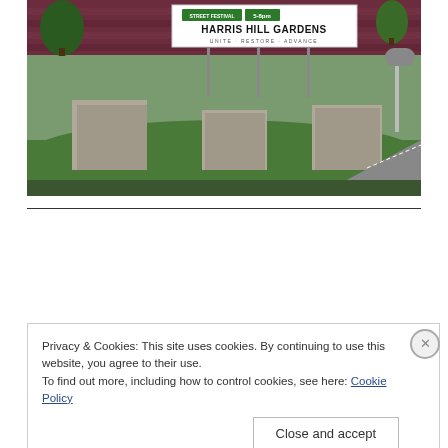[Figure (photo): Outdoor photo showing a Harris Hill Gardens sign on a brick wall background with concrete blocks, green grass, and a road. Sign reads 'HARRIS HILL GARDENS - UNITE - RESTORE - ADVANCE' with green street festival badges showing '5-8pm'.]
Privacy & Cookies: This site uses cookies. By continuing to use this website, you agree to their use.
To find out more, including how to control cookies, see here: Cookie Policy